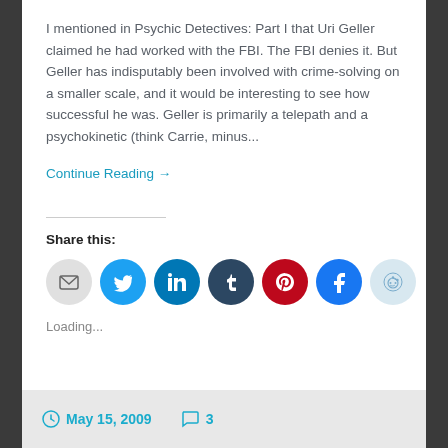I mentioned in Psychic Detectives: Part I that Uri Geller claimed he had worked with the FBI. The FBI denies it. But Geller has indisputably been involved with crime-solving on a smaller scale, and it would be interesting to see how successful he was. Geller is primarily a telepath and a psychokinetic (think Carrie, minus...
Continue Reading →
Share this:
[Figure (infographic): Row of seven circular social share buttons: email (grey), Twitter (blue), LinkedIn (blue), Tumblr (dark blue), Pinterest (red), Facebook (blue), Reddit (light blue)]
Loading...
May 15, 2009   3